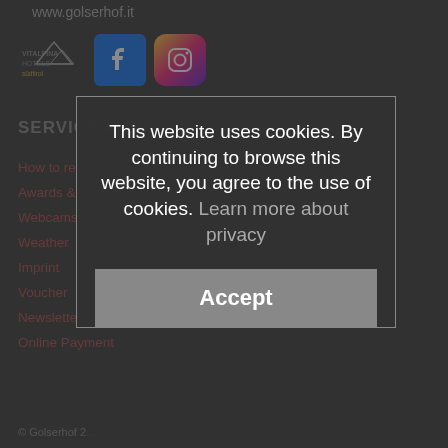www.golserhof.it
[Figure (logo): Vitalpina Hotels logo, Facebook icon, Instagram icon]
SERVICE & INFO
How to reach us
Awards & Partner
Webcams
Weather
Imprint
Voucher
Newsletter
Online Payment
This website uses cookies. By continuing to browse this website, you agree to the use of cookies. Learn more about privacy
Accept
© Golserhof 2...